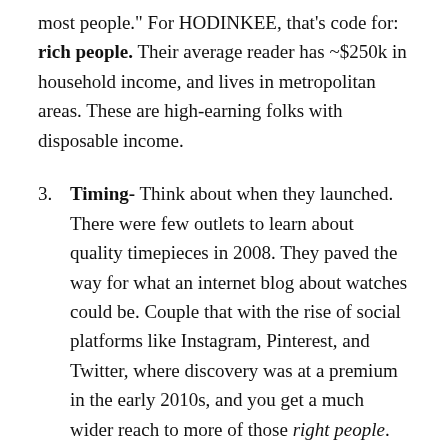most people." For HODINKEE, that's code for: rich people. Their average reader has ~$250k in household income, and lives in metropolitan areas. These are high-earning folks with disposable income.
3. Timing- Think about when they launched. There were few outlets to learn about quality timepieces in 2008. They paved the way for what an internet blog about watches could be. Couple that with the rise of social platforms like Instagram, Pinterest, and Twitter, where discovery was at a premium in the early 2010s, and you get a much wider reach to more of those right people.
4. Messaging & Content- Two things here. First, they explain nuance of timepieces in simple